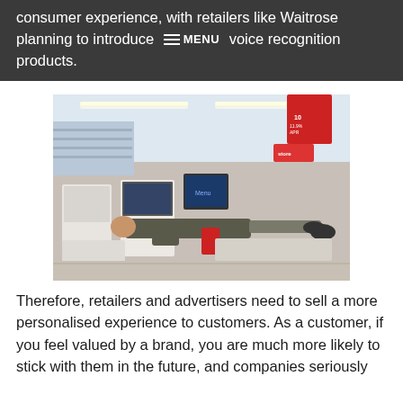consumer experience, with retailers like Waitrose planning to introduce MENU voice recognition products.
[Figure (photo): A person lying horizontally across a self-checkout kiosk in a retail store, with store shelving, red promotional banners, and fluorescent ceiling lights visible in the background.]
Therefore, retailers and advertisers need to sell a more personalised experience to customers. As a customer, if you feel valued by a brand, you are much more likely to stick with them in the future, and companies seriously